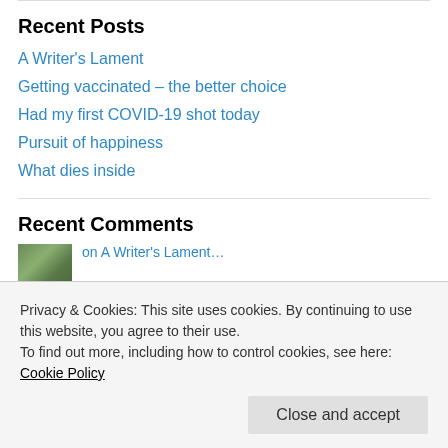Recent Posts
A Writer's Lament
Getting vaccinated – the better choice
Had my first COVID-19 shot today
Pursuit of happiness
What dies inside
Recent Comments
Privacy & Cookies: This site uses cookies. By continuing to use this website, you agree to their use. To find out more, including how to control cookies, see here: Cookie Policy
Close and accept